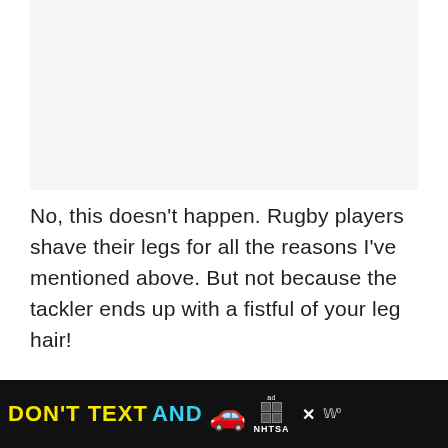[Figure (other): Gray placeholder rectangle at top of page, representing an image or ad area]
No, this doesn't happen. Rugby players shave their legs for all the reasons I've mentioned above. But not because the tackler ends up with a fistful of your leg hair!
Think about it – I doubt you could even...
[Figure (other): Advertisement banner at bottom: 'DON'T TEXT AND [car emoji] [NHTSA ad badge] [close button] [partial text]']